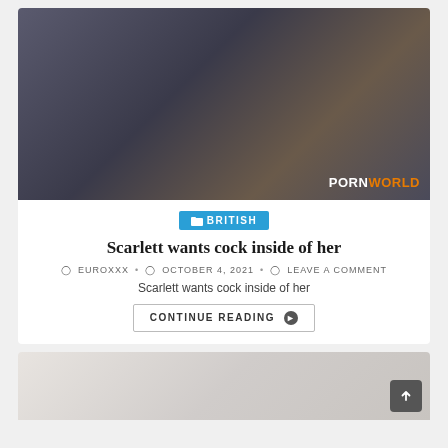[Figure (photo): Thumbnail image of two people in a kitchen with a PORNWORLD watermark in the lower right corner]
BRITISH
Scarlett wants cock inside of her
EUROXXX • OCTOBER 4, 2021 • LEAVE A COMMENT
Scarlett wants cock inside of her
CONTINUE READING
[Figure (photo): Partial thumbnail of a second article, showing a close-up with light/white tones]